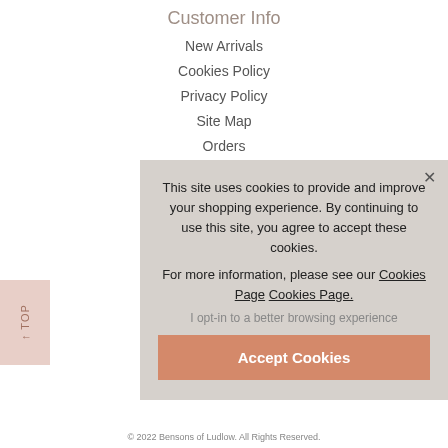Customer Info
New Arrivals
Cookies Policy
Privacy Policy
Site Map
Orders
This site uses cookies to provide and improve your shopping experience. By continuing to use this site, you agree to accept these cookies.
For more information, please see our Cookies Page Cookies Page.
I opt-in to a better browsing experience
Accept Cookies
© 2022 Bensons of Ludlow. All Rights Reserved.